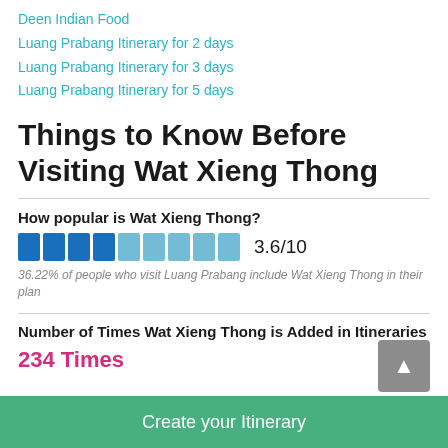Deen Indian Food
Luang Prabang Itinerary for 2 days
Luang Prabang Itinerary for 3 days
Luang Prabang Itinerary for 5 days
Things to Know Before Visiting Wat Xieng Thong
How popular is Wat Xieng Thong?
3.6/10
36.22% of people who visit Luang Prabang include Wat Xieng Thong in their plan
Number of Times Wat Xieng Thong is Added in Itineraries
234 Times
Create your Itinerary